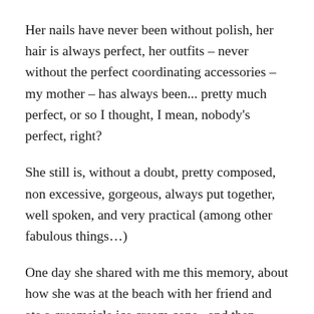Her nails have never been without polish, her hair is always perfect, her outfits – never without the perfect coordinating accessories – my mother – has always been... pretty much perfect, or so I thought, I mean, nobody's perfect, right?
She still is, without a doubt, pretty composed, non excessive, gorgeous, always put together, well spoken, and very practical (among other fabulous things…)
One day she shared with me this memory, about how she was at the beach with her friend and ate a creamsicle ice cream cone...and then wanted another- so she had two ice cream cones that day...this is a lady who never binges or goes overboard with food so this